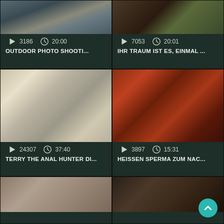[Figure (screenshot): Video thumbnail grid showing 6 video cards in 2 columns. Top row: outdoor rubble/legs scene, blurry outdoor scene. Middle row: two women on couch, movie scene with man and woman. Bottom row: close-up face, dark close-up with scroll button.]
3186  20:00
OUTDOOR PHOTO SHOOTI...
7053  20:01
IHR TRAUM IST ES, EINMAL ...
24307  37:40
TERRY THE ANAL HUNTER DI...
3897  15:31
HEISSEN SPERMA ZUM NAC...